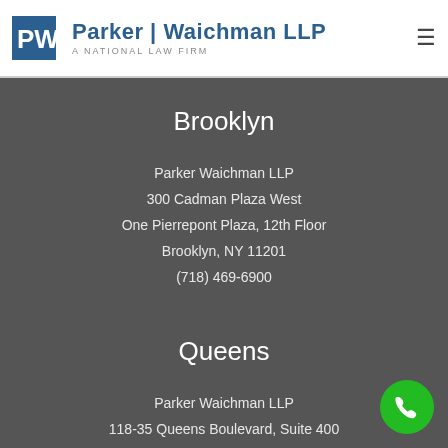Parker Waichman LLP — A National Law Firm
Brooklyn
Parker Waichman LLP
300 Cadman Plaza West
One Pierrepont Plaza, 12th Floor
Brooklyn, NY 11201
(718) 469-6900
Queens
Parker Waichman LLP
118-35 Queens Boulevard, Suite 400
Forest Hills, NY 11375
(718) 469-6900